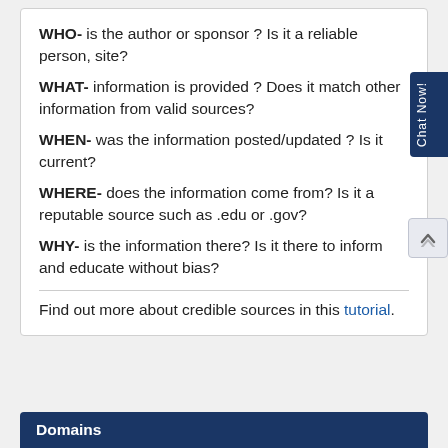WHO- is the author or sponsor ? Is it a reliable person, site?
WHAT- information is provided ? Does it match other information from valid sources?
WHEN- was the information posted/updated ? Is it current?
WHERE- does the information come from? Is it a reputable source such as .edu or .gov?
WHY- is the information there? Is it there to inform and educate without bias?
Find out more about credible sources in this tutorial.
Domains